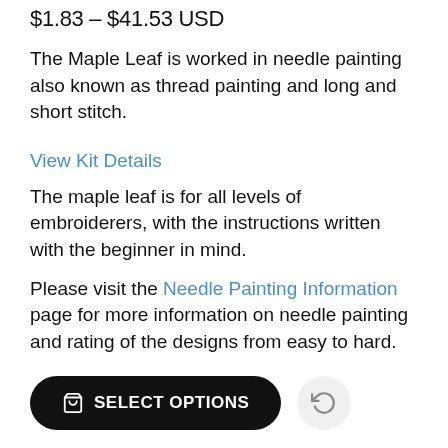$1.83 – $41.53 USD
The Maple Leaf is worked in needle painting also known as thread painting and long and short stitch.
View Kit Details
The maple leaf is for all levels of embroiderers, with the instructions written with the beginner in mind.
Please visit the Needle Painting Information page for more information on needle painting and rating of the designs from easy to hard.
SELECT OPTIONS